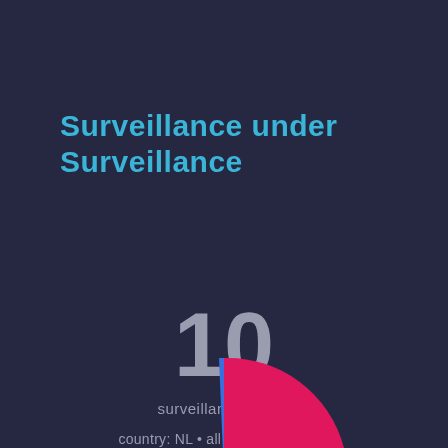Surveillance under Surveillance
10
surveillance nodes
country: NL • all areas • all types
year: 2018 • month: March
filter
[Figure (pie-chart): Partial pie/donut chart visible at bottom of page, showing segments in pink/magenta and blue colors]